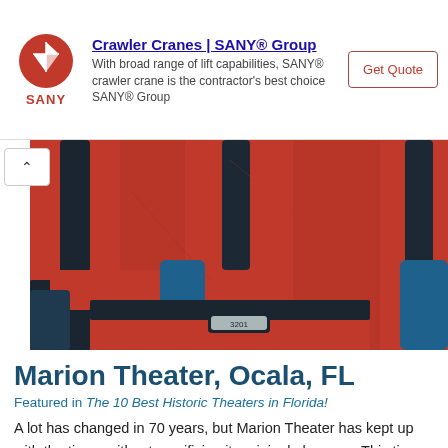[Figure (other): SANY Group advertisement banner with logo, text about Crawler Cranes, and Get Quote button]
[Figure (photo): Close-up photo of red velvet theater seats with blue armrests against a red textured wall]
Marion Theater, Ocala, FL
Featured in The 10 Best Historic Theaters in Florida!
A lot has changed in 70 years, but Marion Theater has kept up with the times without sacrificing its original elegance. This time-tested theater still boasts its rounded Art Deco marquee and entry… Read More